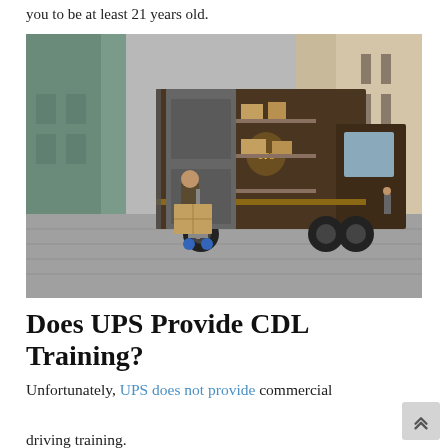you to be at least 21 years old.
[Figure (photo): A UPS delivery driver unloading cardboard boxes from the back of a large brown UPS delivery truck parked on a European city street. The driver is using a hand truck/dolly. The truck's rear doors are open revealing shelves of packages inside.]
Does UPS Provide CDL Training?
Unfortunately, UPS does not provide commercial driving training.